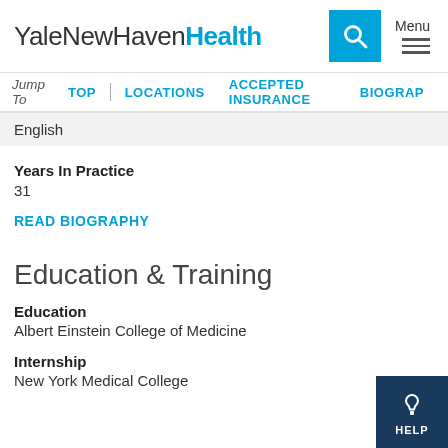YaleNewHavenHealth
Jump To  TOP  LOCATIONS  ACCEPTED INSURANCE  BIOGRAPHY
English
Years In Practice
31
READ BIOGRAPHY
Education & Training
Education
Albert Einstein College of Medicine
Internship
New York Medical College